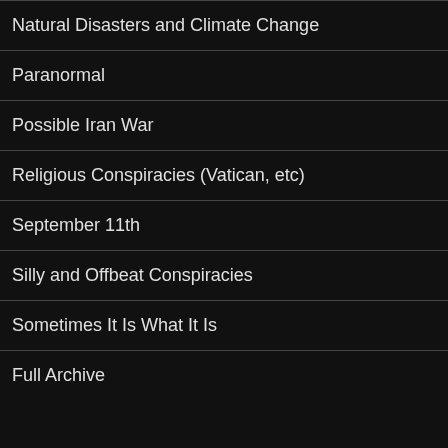Natural Disasters and Climate Change
Paranormal
Possible Iran War
Religious Conspiracies (Vatican, etc)
September 11th
Silly and Offbeat Conspiracies
Sometimes It Is What It Is
Full Archive